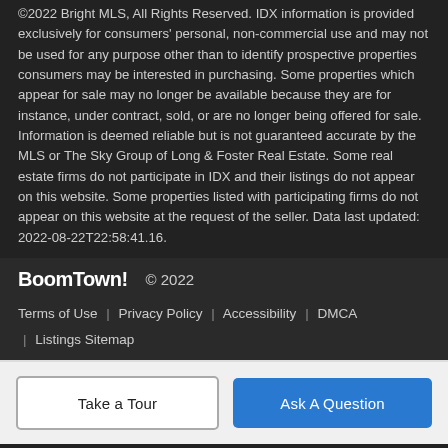©2022 Bright MLS, All Rights Reserved. IDX information is provided exclusively for consumers' personal, non-commercial use and may not be used for any purpose other than to identify prospective properties consumers may be interested in purchasing. Some properties which appear for sale may no longer be available because they are for instance, under contract, sold, or are no longer being offered for sale. Information is deemed reliable but is not guaranteed accurate by the MLS or The Sky Group of Long & Foster Real Estate. Some real estate firms do not participate in IDX and their listings do not appear on this website. Some properties listed with participating firms do not appear on this website at the request of the seller. Data last updated: 2022-08-22T22:58:41.16.
BoomTown! © 2022 | Terms of Use | Privacy Policy | Accessibility | DMCA | Listings Sitemap
Take a Tour
Ask A Question